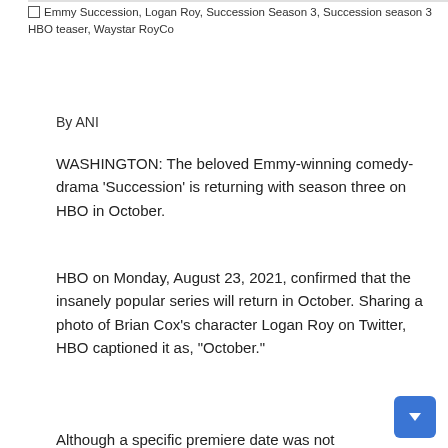Emmy Succession, Logan Roy, Succession Season 3, Succession season 3 HBO teaser, Waystar RoyCo
By ANI
WASHINGTON: The beloved Emmy-winning comedy-drama ‘Succession’ is returning with season three on HBO in October.
HBO on Monday, August 23, 2021, confirmed that the insanely popular series will return in October. Sharing a photo of Brian Cox’s character Logan Roy on Twitter, HBO captioned it as, “October.”
Although a specific premiere date was not mentioned,